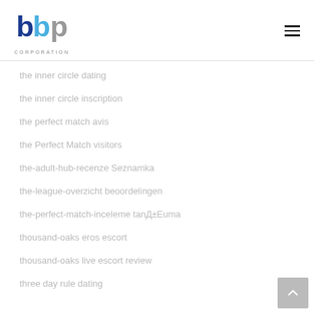bbp CORPORATION
the inner circle dating
the inner circle inscription
the perfect match avis
the Perfect Match visitors
the-adult-hub-recenze Seznamka
the-league-overzicht beoordelingen
the-perfect-match-inceleme tanД±Еuma
thousand-oaks eros escort
thousand-oaks live escort review
three day rule dating